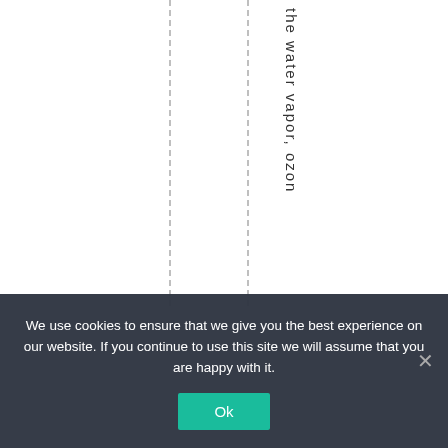[Figure (schematic): A table or chart area with vertical dashed lines and rotated column header text reading 'the water vapor, ozon' (truncated), shown in vertical writing mode.]
We use cookies to ensure that we give you the best experience on our website. If you continue to use this site we will assume that you are happy with it.